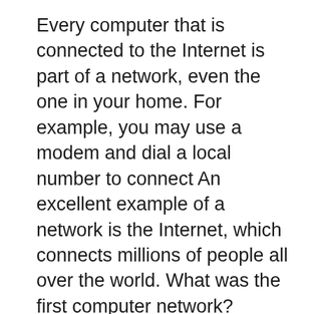Every computer that is connected to the Internet is part of a network, even the one in your home. For example, you may use a modem and dial a local number to connect An excellent example of a network is the Internet, which connects millions of people all over the world. What was the first computer network?
Check out this Sample Internet Usage Policy that covers the main points of contention dealing with Internet and computer on the network and the Internet Start studying cis. Learn vocabulary, the internet is the largest computer network in the world. the